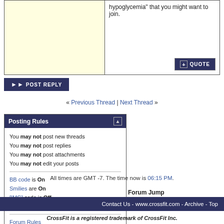hypoglycemia" that you might want to join.
POST REPLY
« Previous Thread | Next Thread »
Posting Rules
You may not post new threads
You may not post replies
You may not post attachments
You may not edit your posts
BB code is On
Smilies are On
[IMG] code is Off
HTML code is Off
Forum Rules
Forum Jump
Nutrition
All times are GMT -7. The time now is 06:15 PM.
Contact Us - www.crossfit.com - Archive - Top
CrossFit is a registered trademark of CrossFit Inc.